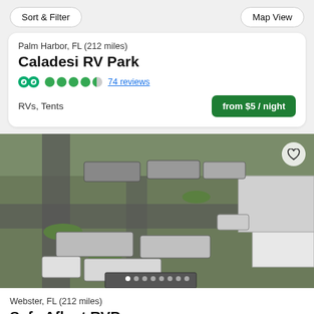Sort & Filter | Map View
Palm Harbor, FL (212 miles)
Caladesi RV Park
74 reviews
RVs, Tents
from $5 / night
[Figure (photo): Aerial drone view of an RV park showing multiple large RVs, trailers, and trucks parked in paved spaces with grass islands and a building with covered parking on the right side.]
Webster, FL (212 miles)
Safe Afloat RVP...